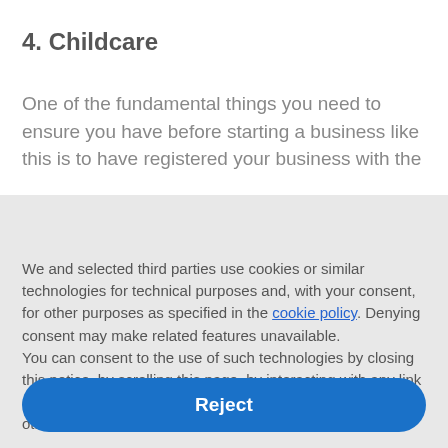4. Childcare
One of the fundamental things you need to ensure you have before starting a business like this is to have registered your business with the
Notice
We and selected third parties use cookies or similar technologies for technical purposes and, with your consent, for other purposes as specified in the cookie policy. Denying consent may make related features unavailable.
You can consent to the use of such technologies by closing this notice, by scrolling this page, by interacting with any link or button outside of this notice or by continuing to browse otherwise.
Reject